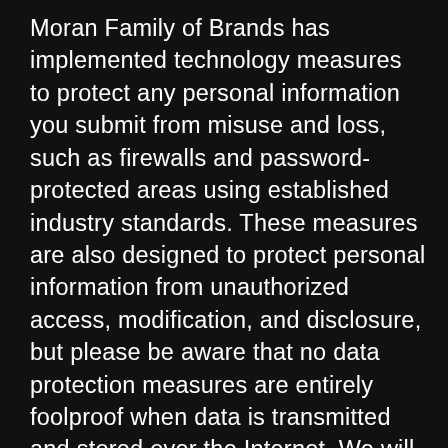Moran Family of Brands has implemented technology measures to protect any personal information you submit from misuse and loss, such as firewalls and password-protected areas using established industry standards. These measures are also designed to protect personal information from unauthorized access, modification, and disclosure, but please be aware that no data protection measures are entirely foolproof when data is transmitted and stored over the Internet. We will update these measures as new technology becomes available, as appropriate.